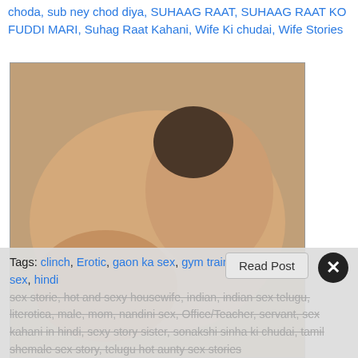choda, sub ney chod diya, SUHAAG RAAT, SUHAAG RAAT KO FUDDI MARI, Suhag Raat Kahani, Wife Ki chudai, Wife Stories
[Figure (photo): Photo of two people in an intimate position on a bed]
Saw male servant and mom in erotic clinch – Indian Literotica Hi, I am Anu, 24 years old. My stats are 38-28-40. I am a pretty and fair complexion girl with beautiful long black hair and a busty figure. I have been busty since my teenage but my boobs, hips, and ass grew a lot [...]
Tags: clinch, Erotic, gaon ka sex, gym trainer sex, hindi sex storie, hot and sexy housewife, indian, indian sex telugu, literotica, male, mom, nandini sex, Office/Teacher, servant, sex kahani in hindi, sexy story sister, sonakshi sinha ki chudai, tamil shemale sex story, telugu hot aunty sex stories